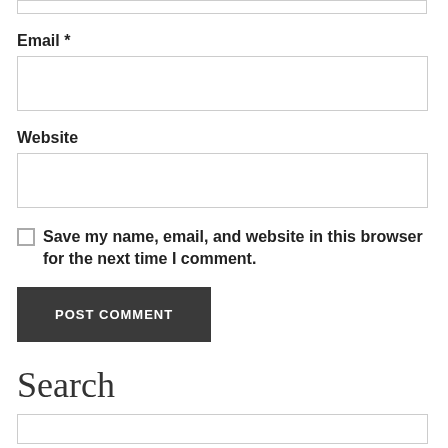Email *
Website
Save my name, email, and website in this browser for the next time I comment.
POST COMMENT
Search